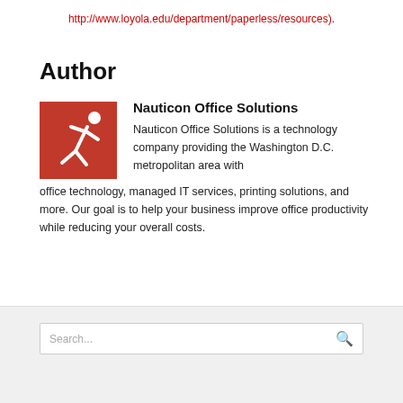http://www.loyola.edu/department/paperless/resources).
Author
[Figure (logo): Nauticon Office Solutions logo: red square with a white stick figure person icon]
Nauticon Office Solutions
Nauticon Office Solutions is a technology company providing the Washington D.C. metropolitan area with office technology, managed IT services, printing solutions, and more. Our goal is to help your business improve office productivity while reducing your overall costs.
Search...